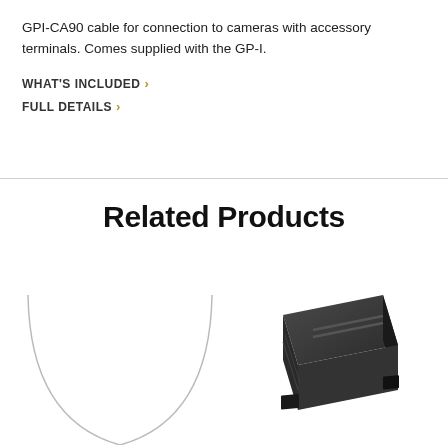GPI-CA90 cable for connection to cameras with accessory terminals. Comes supplied with the GP-I.
WHAT'S INCLUDED >
FULL DETAILS >
Related Products
[Figure (photo): Partial circular object, possibly a lens or circular accessory, showing bottom arc only, white background]
[Figure (photo): Dark grey/black camera hot shoe cover or accessory terminal cap, viewed at an angle]